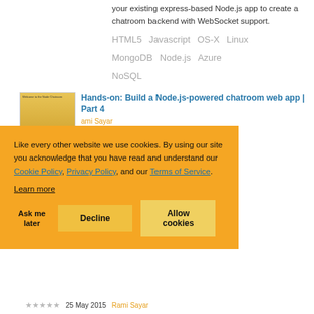your existing express-based Node.js app to create a chatroom backend with WebSocket support.
HTML5   Javascript   OS-X   Linux
MongoDB   Node.js   Azure
NoSQL
Hands-on: Build a Node.js-powered chatroom web app | Part 4
Rami Sayar
w you how to
ed frontend to
pt   bootstrap
Hands-on: Build a Node.js-powered
Like every other website we use cookies. By using our site you acknowledge that you have read and understand our Cookie Policy, Privacy Policy, and our Terms of Service.
Learn more
25 May 2015
Rami Sayar